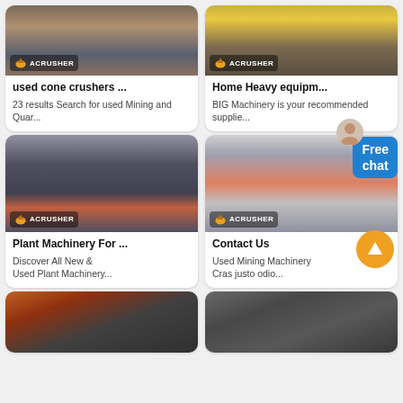[Figure (photo): Used cone crusher machine with ACRUSHER branding, circular orange/blue track visible]
used cone crushers ...
23 results Search for used Mining and Quar...
[Figure (photo): Heavy equipment machinery with yellow/black striped hazard markings and ACRUSHER branding]
Home Heavy equipm...
BIG Machinery is your recommended supplie...
[Figure (photo): Plant machinery - vertical mill/crusher in industrial factory setting with ACRUSHER branding]
Plant Machinery For ...
Discover All New & Used Plant Machinery...
[Figure (photo): Contact Us - cone crusher machine with red and grey body, ACRUSHER branding]
Contact Us
Used Mining Machinery Cras justo odio...
[Figure (photo): Industrial conveyor/belt machinery in factory setting with orange overhead crane]
[Figure (photo): Industrial conveyor belt system with mining equipment]